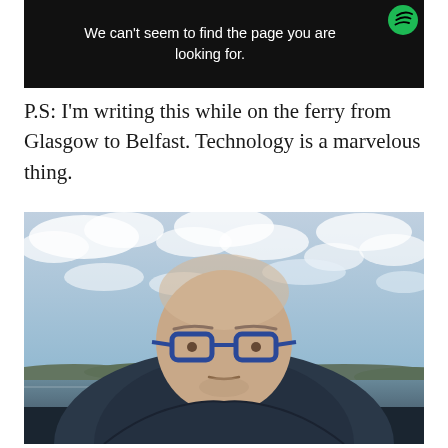[Figure (screenshot): Dark/black banner from a website or app showing the Spotify logo (green circle) in the top right corner and white centered text reading: 'We can't seem to find the page you are looking for.']
P.S: I'm writing this while on the ferry from Glasgow to Belfast. Technology is a marvelous thing.
[Figure (photo): Outdoor selfie photograph of a bald man wearing blue-framed glasses and a dark jacket. He is on a ferry with a dramatic cloudy sky behind him, water and distant hills visible at the horizon.]